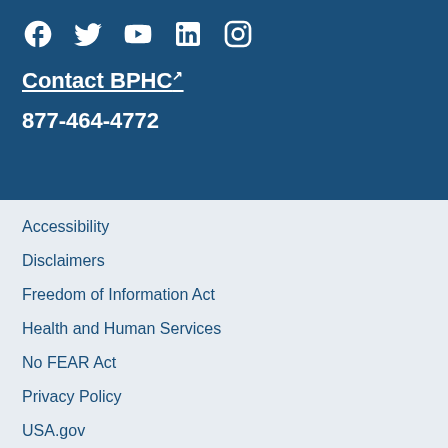[Figure (illustration): Social media icons: Facebook, Twitter, YouTube, LinkedIn, Instagram in white on dark blue background]
Contact BPHC (external link)
877-464-4772
Accessibility
Disclaimers
Freedom of Information Act
Health and Human Services
No FEAR Act
Privacy Policy
USA.gov